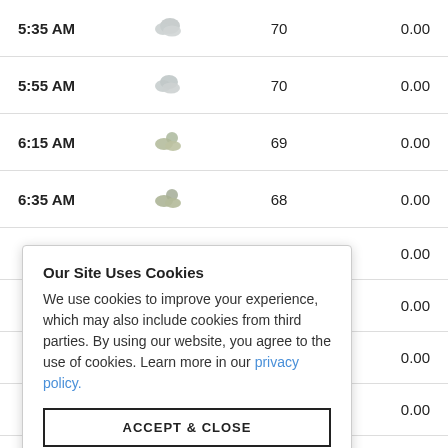| Time | Condition | Temp | Precip |
| --- | --- | --- | --- |
| 5:35 AM | [cloudy icon] | 70 | 0.00 |
| 5:55 AM | [cloudy icon] | 70 | 0.00 |
| 6:15 AM | [partly cloudy icon] | 69 | 0.00 |
| 6:35 AM | [partly cloudy icon] | 68 | 0.00 |
|  |  |  | 0.00 |
|  |  |  | 0.00 |
|  |  |  | 0.00 |
|  |  |  | 0.00 |
| 8:15 AM | [sun icon] | 69 | 0.00 |
Our Site Uses Cookies
We use cookies to improve your experience, which may also include cookies from third parties. By using our website, you agree to the use of cookies. Learn more in our privacy policy.
[ACCEPT & CLOSE button]